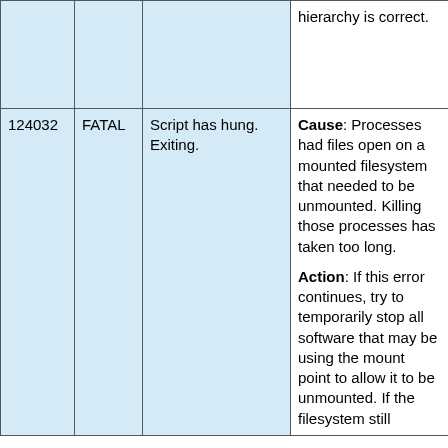|  |  |  |  |
| --- | --- | --- | --- |
|  |  |  | hierarchy is correct. |
| 124032 | FATAL | Script has hung. Exiting. | Cause: Processes had files open on a mounted filesystem that needed to be unmounted. Killing those processes has taken too long.

Action: If this error continues, try to temporarily stop all software that may be using the mount point to allow it to be unmounted. If the filesystem still |